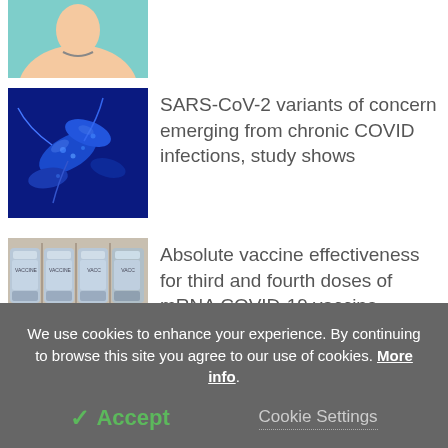[Figure (photo): Partial view of a illustration/photo at the top, showing a person's shoulder/neck area with teal background]
[Figure (photo): Microscope image of SARS-CoV-2 / bacteria in blue tones]
SARS-CoV-2 variants of concern emerging from chronic COVID infections, study shows
[Figure (photo): Photo of multiple COVID-19 vaccine vials labeled VACCINE in a tray]
Absolute vaccine effectiveness for third and fourth doses of mRNA COVID-19 vaccine against Omicron
We use cookies to enhance your experience. By continuing to browse this site you agree to our use of cookies. More info.
✓ Accept
Cookie Settings